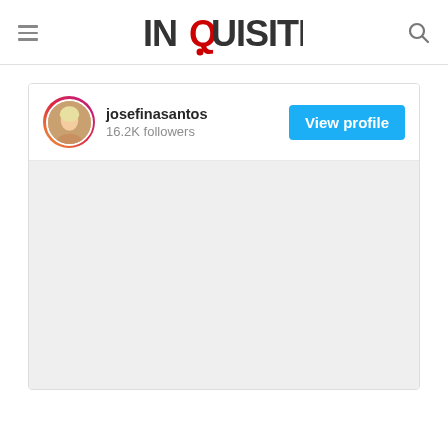INQUISITR
[Figure (screenshot): Instagram embed widget showing user josefinasantos with 16.2K followers and a View profile button, below which is a grey placeholder area for embedded content.]